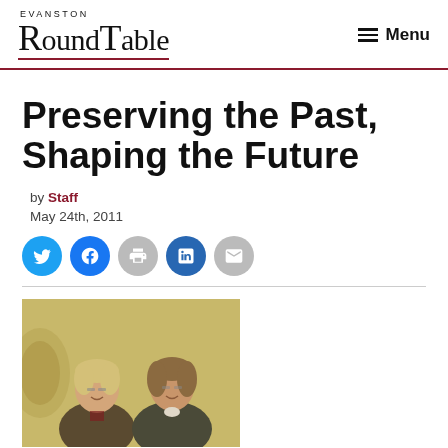Evanston RoundTable — Menu
Preserving the Past, Shaping the Future
by Staff
May 24th, 2011
[Figure (photo): Two women standing together in front of a yellow background with a decorative emblem partially visible on the left.]